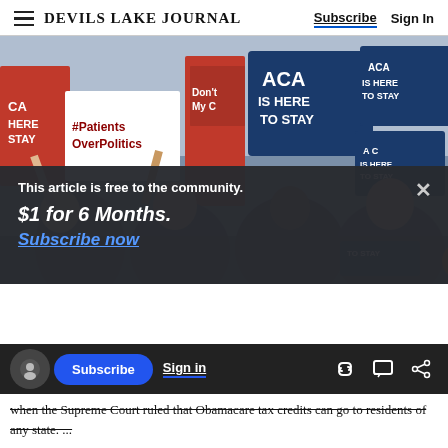DEVILS LAKE JOURNAL — Subscribe | Sign In
[Figure (photo): Crowd of protesters holding signs reading 'ACA IS HERE TO STAY', '#PatientsOverPolitics', 'Don't Touch My ...' at a rally supporting the Affordable Care Act]
This article is free to the community.
$1 for 6 Months.
Subscribe now
Subscribe  Sign in
when the Supreme Court ruled that Obamacare tax credits can go to residents of any state. ...